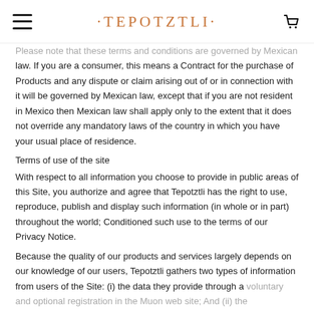·TEPOTZTLI·
Please note that these terms and conditions are governed by Mexican law. If you are a consumer, this means a Contract for the purchase of Products and any dispute or claim arising out of or in connection with it will be governed by Mexican law, except that if you are not resident in Mexico then Mexican law shall apply only to the extent that it does not override any mandatory laws of the country in which you have your usual place of residence.
Terms of use of the site
With respect to all information you choose to provide in public areas of this Site, you authorize and agree that Tepotztli has the right to use, reproduce, publish and display such information (in whole or in part) throughout the world; Conditioned such use to the terms of our Privacy Notice.
Because the quality of our products and services largely depends on our knowledge of our users, Tepotztli gathers two types of information from users of the Site: (i) the data they provide through a voluntary and optional registration in the Muon web site; And (ii) the